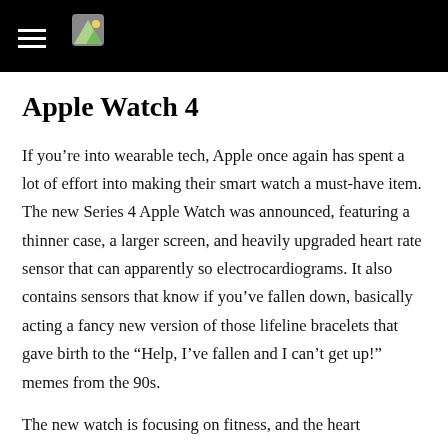[navigation bar with hamburger menu and logo]
Apple Watch 4
If you’re into wearable tech, Apple once again has spent a lot of effort into making their smart watch a must-have item. The new Series 4 Apple Watch was announced, featuring a thinner case, a larger screen, and heavily upgraded heart rate sensor that can apparently so electrocardiograms. It also contains sensors that know if you’ve fallen down, basically acting a fancy new version of those lifeline bracelets that gave birth to the “Help, I’ve fallen and I can’t get up!” memes from the 90s.
The new watch is focusing on fitness, and the heart